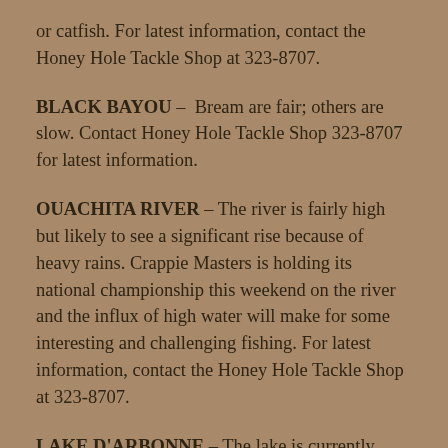or catfish. For latest information, contact the Honey Hole Tackle Shop at 323-8707.
BLACK BAYOU – Bream are fair; others are slow. Contact Honey Hole Tackle Shop 323-8707 for latest information.
OUACHITA RIVER – The river is fairly high but likely to see a significant rise because of heavy rains. Crappie Masters is holding its national championship this weekend on the river and the influx of high water will make for some interesting and challenging fishing. For latest information, contact the Honey Hole Tackle Shop at 323-8707.
LAKE D'ARBONNE – The lake is currently around 3 feet above normal and the water will